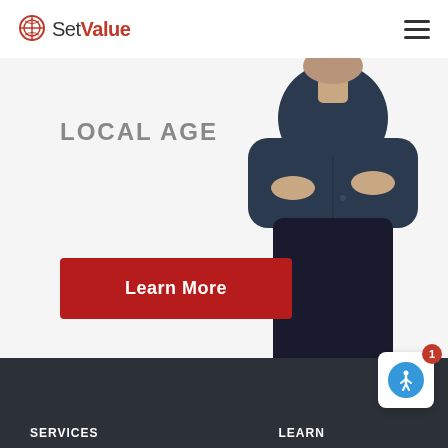[Figure (logo): SetValue logo with circular icon on left and text SetValue where Value is bold red]
LOCAL AGENTS.
[Figure (photo): Business woman in dark navy blazer and black skirt, arms crossed, cropped at torso level, white background]
Learn More
SERVICES    LEARN